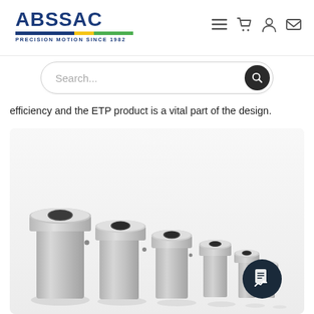ABSSAC PRECISION MOTION SINCE 1982
Search...
efficiency and the ETP product is a vital part of the design.
[Figure (photo): Five ETP hydraulic shaft-hub connection bushings arranged in descending size order from left to right, all in polished stainless steel, with a document badge icon in the lower right corner.]